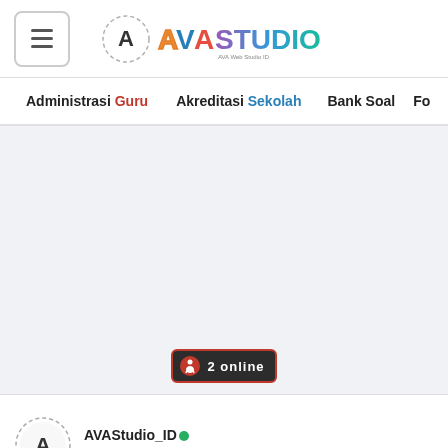[Figure (logo): AVA Studio website logo with hamburger menu icon on the left and AVA Studio branding in the center of the header bar]
Administrasi Guru   Akreditasi Sekolah   Bank Soal   Fo
[Figure (infographic): 2 online visitor badge with walking person icon, dark background with red border]
AVAStudio_ID
27 February 2021, 16:08 WITA (GMT+8)